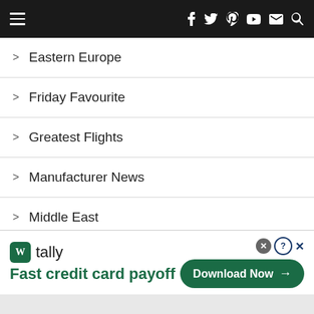Navigation header with hamburger menu and social icons
Eastern Europe
Friday Favourite
Greatest Flights
Manufacturer News
Middle East
Miscellaneous Spotting
Museums
[Figure (infographic): Tally app advertisement banner: logo, 'Fast credit card payoff' tagline, Download Now button]